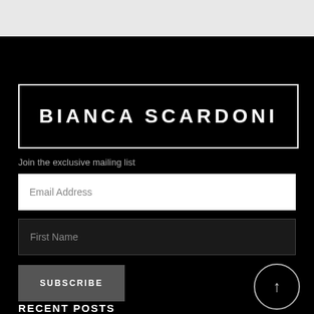BIANCA SCARDONI
Join the exclusive mailing list
Email Address
First Name
SUBSCRIBE
RECENT POSTS